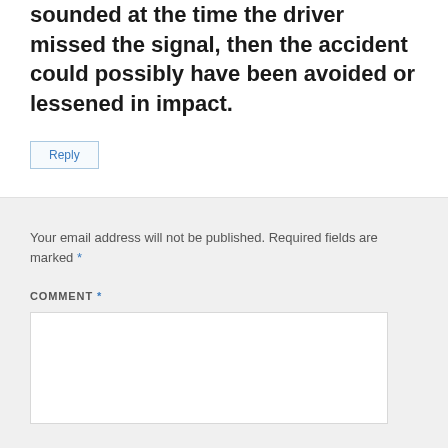sounded at the time the driver missed the signal, then the accident could possibly have been avoided or lessened in impact.
Reply
Your email address will not be published. Required fields are marked *
COMMENT *